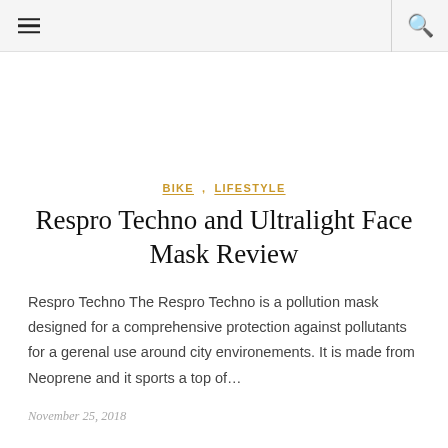☰ 🔍
BIKE  LIFESTYLE
Respro Techno and Ultralight Face Mask Review
Respro Techno The Respro Techno is a pollution mask designed for a comprehensive protection against pollutants for a gerenal use around city environements. It is made from Neoprene and it sports a top of...
November 25, 2018